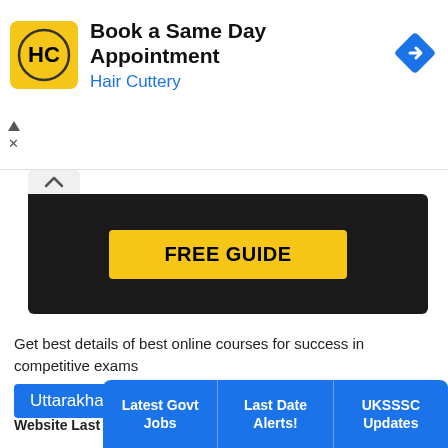[Figure (screenshot): Hair Cuttery advertisement banner with logo, 'Book a Same Day Appointment' heading, and navigation arrow icon]
[Figure (screenshot): Dark banner with a yellow 'FREE GUIDE' button and a white tab with chevron-up icon]
Get best details of best online courses for success in competitive exams
Uttarakhand Govt Jobs
Uttarakhand latest, upcoming Govt Jobs and direct recruitment in 2022. Get sarkari naukri updates with online application forms, last dates, how to apply, contact details and other important information to get your dream job.
Website Last Updated On: 29 August, 2022
[Figure (screenshot): Bottom navigation bar with three blue buttons: 'Latest Govt Jobs', 'Last Date Alerts!', 'UKSSSC Updates']